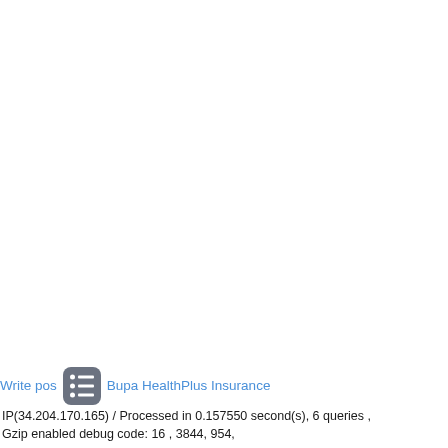Write post... Bupa HealthPlus Insurance
IP(34.204.170.165) / Processed in 0.157550 second(s), 6 queries , Gzip enabled debug code: 16 , 3844, 954,